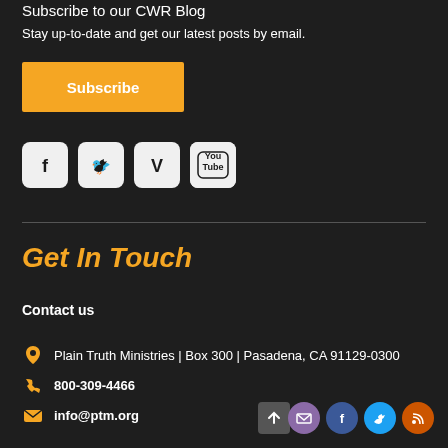Subscribe to our CWR Blog
Stay up-to-date and get our latest posts by email.
[Figure (other): Orange Subscribe button]
[Figure (other): Social media icons: Facebook, Twitter, Vimeo, YouTube]
Get In Touch
Contact us
Plain Truth Ministries | Box 300 | Pasadena, CA 91129-0300
800-309-4466
info@ptm.org